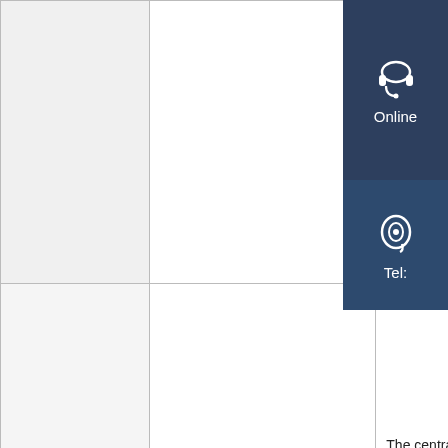|  | Type | Description |
| --- | --- | --- |
|  |  |  |
|  | Pulse solenoid | The central magnetic field intensity Hmax0.6T, the magnetic field uniformity (△H/H)/uniformity 100mm, uniformity is 5%; the length is 440mm, the inner diameter length is 440mm, and the w Continuous pulse magnetic frequency 0-25Hz, duty ratio 180KW |
|  | Pulse solenoid | The central magnetic field i Hmax0.12T, the magnetic fi uniformity (△H/H)/uniformity 50mm, uniformity is 1.5%; t is 320mm, the inner diamet |
[Figure (other): Online support widget with headset icon and 'Online' label, and Tel support widget with ear/phone icon and 'Tel:' label — overlaid on top-right corner of the page]